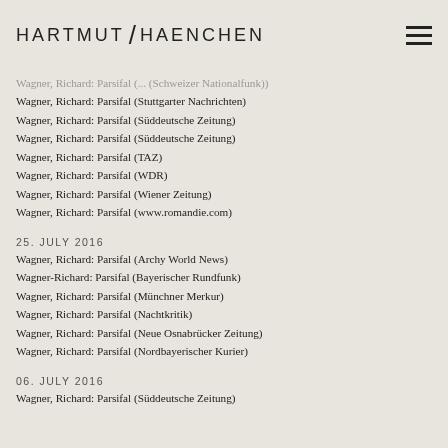HARTMUT / HAENCHEN
Wagner, Richard: Parsifal (... (Schweizer Nationalfunk))
Wagner, Richard: Parsifal (Stuttgarter Nachrichten)
Wagner, Richard: Parsifal (Süddeutsche Zeitung)
Wagner, Richard: Parsifal (Süddeutsche Zeitung)
Wagner, Richard: Parsifal (TAZ)
Wagner, Richard: Parsifal (WDR)
Wagner, Richard: Parsifal (Wiener Zeitung)
Wagner, Richard: Parsifal (www.romandie.com)
25. JULY 2016
Wagner, Richard: Parsifal (Archy World News)
Wagner-Richard: Parsifal (Bayerischer Rundfunk)
Wagner, Richard: Parsifal (Münchner Merkur)
Wagner, Richard: Parsifal (Nachtkritik)
Wagner, Richard: Parsifal (Neue Osnabrücker Zeitung)
Wagner, Richard: Parsifal (Nordbayerischer Kurier)
06. JULY 2016
Wagner, Richard: Parsifal (Süddeutsche Zeitung)